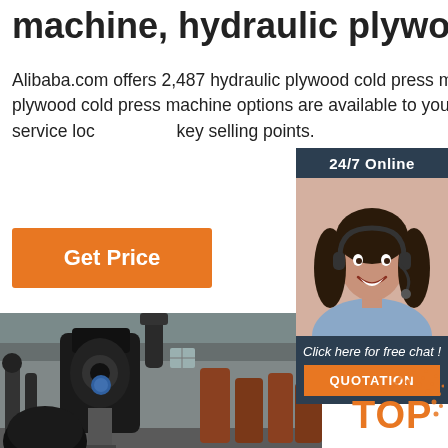machine, hydraulic plywood ...
Alibaba.com offers 2,487 hydraulic plywood cold press machine products. A wide variety of hydraulic plywood cold press machine options are available to you, such as warranty of core components, local service location, and key selling points.
[Figure (other): Orange 'Get Price' button]
[Figure (other): Sidebar widget with '24/7 Online' header, customer service agent photo with headset, 'Click here for free chat!' text, and orange QUOTATION button on dark navy background]
[Figure (photo): Industrial machinery photo showing hydraulic cold press machines in a factory setting]
[Figure (other): TOP watermark logo in orange with dotted arc pattern]